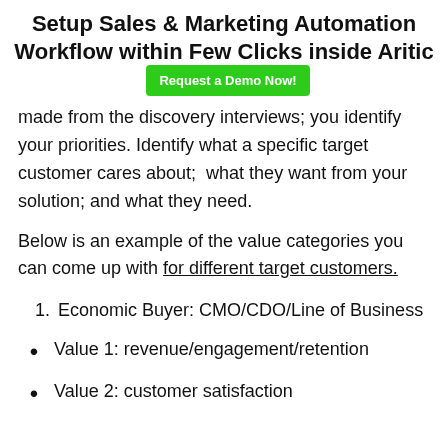Setup Sales & Marketing Automation Workflow within Few Clicks inside Aritic
made from the discovery interviews; you identify your priorities. Identify what a specific target customer cares about;  what they want from your solution; and what they need.
Below is an example of the value categories you can come up with for different target customers.
1. Economic Buyer: CMO/CDO/Line of Business
Value 1: revenue/engagement/retention
Value 2: customer satisfaction